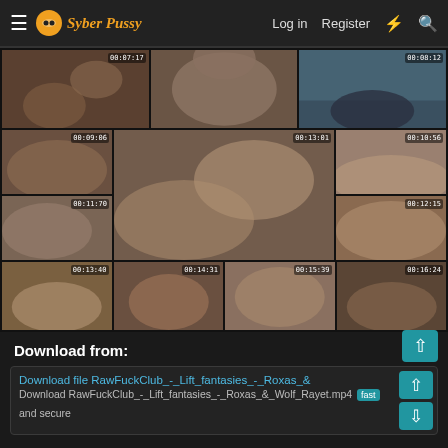Syber Pussy  Log in  Register
[Figure (screenshot): Grid of video thumbnails with timestamps: 00:07:17, 00:08:12, 00:09:06, 00:13:01, 00:10:56, 00:11:70, 00:12:15, 00:13:40, 00:14:31, 00:15:39, 00:16:24]
Download from:
Download file RawFuckClub_-_Lift_fantasies_-_Roxas_&
Download RawFuckClub_-_Lift_fantasies_-_Roxas_&_Wolf_Rayet.mp4 fast and secure